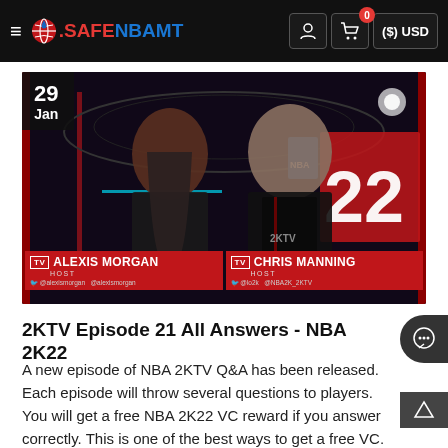≡ .SAFENBAMT  🧑  🛒 0  ($) USD
[Figure (photo): Two TV hosts (Alexis Morgan and Chris Manning) standing in an NBA 2K22 studio set. Name bars at bottom identify them as hosts. Date badge shows 29 Jan.]
2KTV Episode 21 All Answers - NBA 2K22
A new episode of NBA 2KTV Q&A has been released. Each episode will throw several questions to players. You will get a free NBA 2K22 VC reward if you answer correctly. This is one of the best ways to get a free VC.